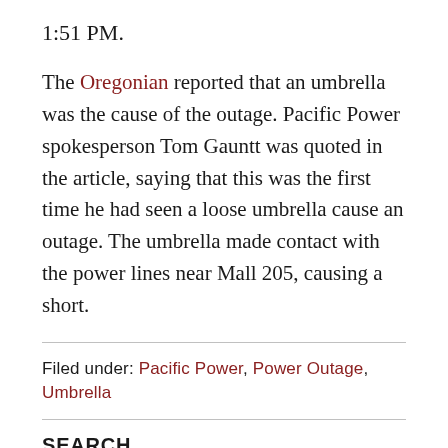1:51 PM.
The Oregonian reported that an umbrella was the cause of the outage. Pacific Power spokesperson Tom Gauntt was quoted in the article, saying that this was the first time he had seen a loose umbrella cause an outage. The umbrella made contact with the power lines near Mall 205, causing a short.
Filed under: Pacific Power, Power Outage, Umbrella
SEARCH